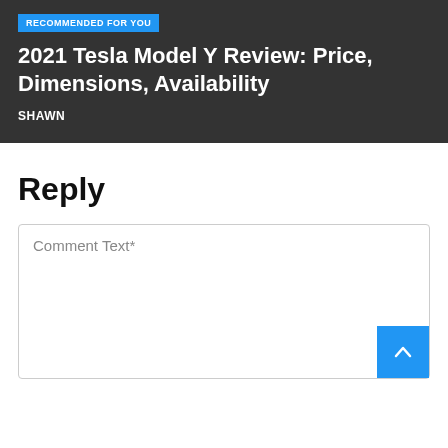RECOMMENDED FOR YOU
2021 Tesla Model Y Review: Price, Dimensions, Availability
SHAWN
Reply
Comment Text*